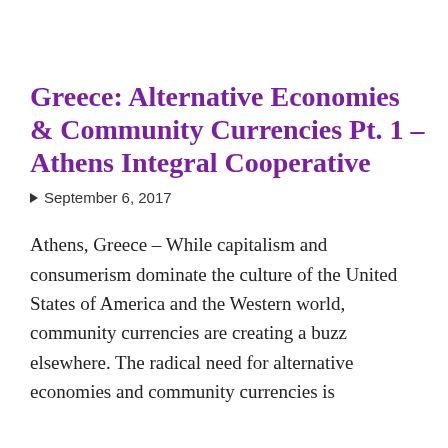Greece: Alternative Economies & Community Currencies Pt. 1 – Athens Integral Cooperative
September 6, 2017
Athens, Greece – While capitalism and consumerism dominate the culture of the United States of America and the Western world, community currencies are creating a buzz elsewhere. The radical need for alternative economies and community currencies is